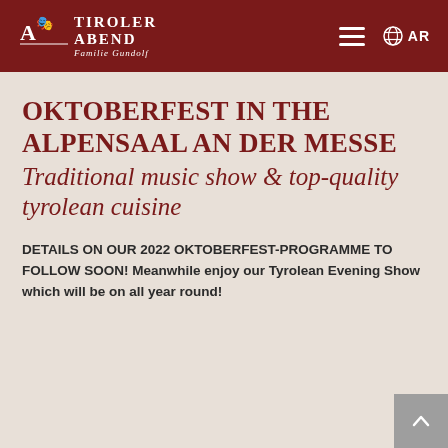TIROLER ABEND Familie Gundolf  ≡  🌐 AR
OKTOBERFEST IN THE ALPENSAAL AN DER MESSE Traditional music show & top-quality tyrolean cuisine
DETAILS ON OUR 2022 OKTOBERFEST-PROGRAMME TO FOLLOW SOON! Meanwhile enjoy our Tyrolean Evening Show which will be on all year round!